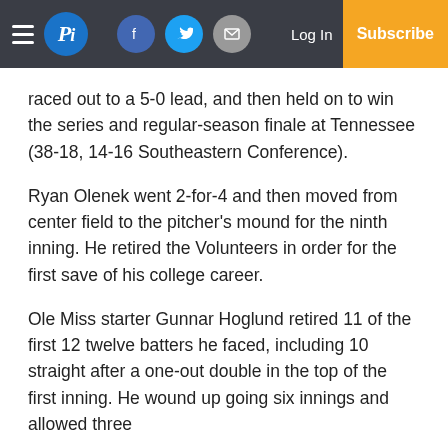Pi — Log In | Subscribe
raced out to a 5-0 lead, and then held on to win the series and regular-season finale at Tennessee (38-18, 14-16 Southeastern Conference).
Ryan Olenek went 2-for-4 and then moved from center field to the pitcher’s mound for the ninth inning. He retired the Volunteers in order for the first save of his college career.
Ole Miss starter Gunnar Hoglund retired 11 of the first 12 twelve batters he faced, including 10 straight after a one-out double in the top of the first inning. He wound up going six innings and allowed three